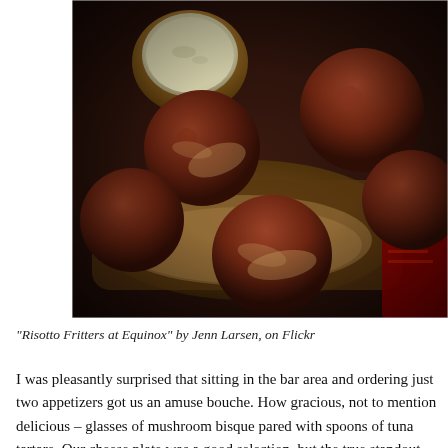[Figure (photo): Close-up photo of breaded risotto fritters (arancini) in a dark serving dish with a small bowl of dipping sauce, taken in dim warm lighting.]
"Risotto Fritters at Equinox" by Jenn Larsen, on Flickr
I was pleasantly surprised that sitting in the bar area and ordering just two appetizers got us an amuse bouche. How gracious, not to mention delicious – glasses of mushroom bisque pared with spoons of tuna tartare. Our cheese plate was a good selection, but the true standout – the risotto fritters (or arancini) – little